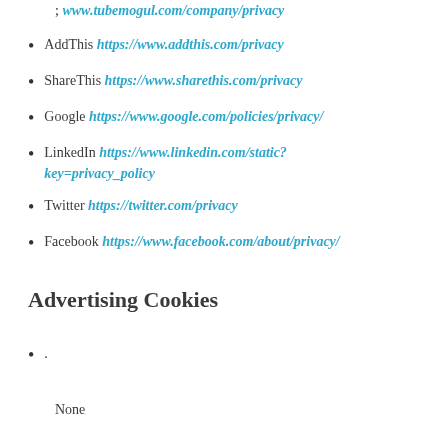; www.tubemogul.com/company/privacy
AddThis https://www.addthis.com/privacy
ShareThis https://www.sharethis.com/privacy
Google https://www.google.com/policies/privacy/
LinkedIn https://www.linkedin.com/static?key=privacy_policy
Twitter https://twitter.com/privacy
Facebook https://www.facebook.com/about/privacy/
Advertising Cookies
.
None